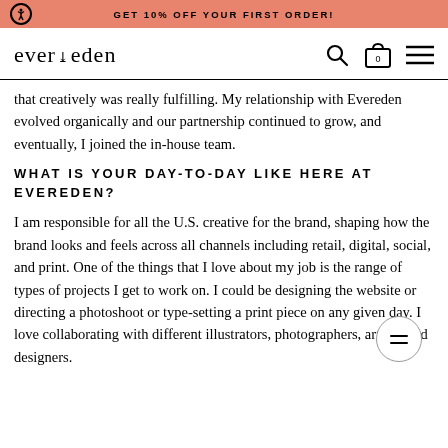GET 10% OFF YOUR FIRST ORDER!
[Figure (logo): Evereden brand logo with leaf icon, plus search, bag, and menu icons]
that creatively was really fulfilling. My relationship with Evereden evolved organically and our partnership continued to grow, and eventually, I joined the in-house team.
WHAT IS YOUR DAY-TO-DAY LIKE HERE AT EVEREDEN?
I am responsible for all the U.S. creative for the brand, shaping how the brand looks and feels across all channels including retail, digital, social, and print. One of the things that I love about my job is the range of types of projects I get to work on. I could be designing the website or directing a photoshoot or type-setting a print piece on any given day. I love collaborating with different illustrators, photographers, artists, and designers.